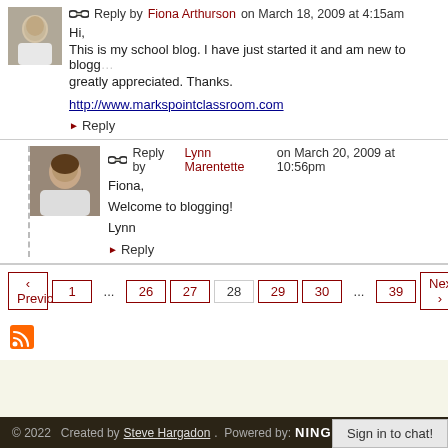Reply by Fiona Arthurson on March 18, 2009 at 4:15am
Hi,
This is my school blog. I have just started it and am new to blogging. Any help and advice would be greatly appreciated. Thanks.
http://www.markspointclassroom.com
▶ Reply
Reply by Lynn Marentette on March 20, 2009 at 10:56pm
Fiona,

Welcome to blogging!

Lynn
▶ Reply
‹ Previous  1  ...  26  27  28  29  30  ...  39  Next ›
[Figure (logo): RSS feed icon]
© 2022   Created by Steve Hargadon.  Powered by: NING
Sign in to chat!